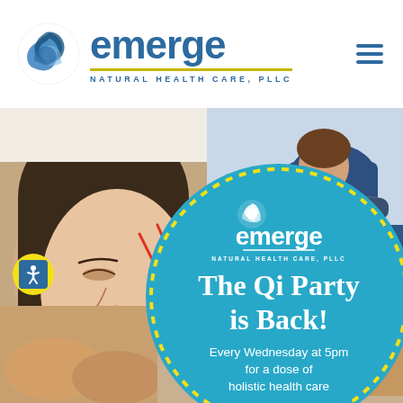[Figure (logo): Emerge Natural Health Care PLLC logo with swirl icon and blue text]
[Figure (photo): Website screenshot showing Emerge Natural Health Care PLLC homepage with acupuncture and massage therapy photos, an accessibility icon in yellow circle, and a teal circular overlay promoting 'The Qi Party is Back! Every Wednesday at 5pm for a dose of holistic health care']